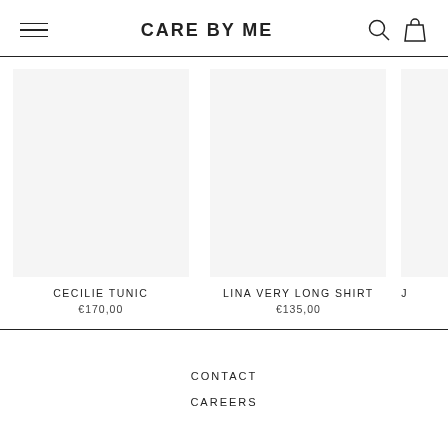CARE BY ME
[Figure (photo): Product image placeholder for CECILIE TUNIC]
CECILIE TUNIC
€170,00
[Figure (photo): Product image placeholder for LINA VERY LONG SHIRT]
LINA VERY LONG SHIRT
€135,00
[Figure (photo): Partial product card (third product, cut off)]
J...
CONTACT
CAREERS